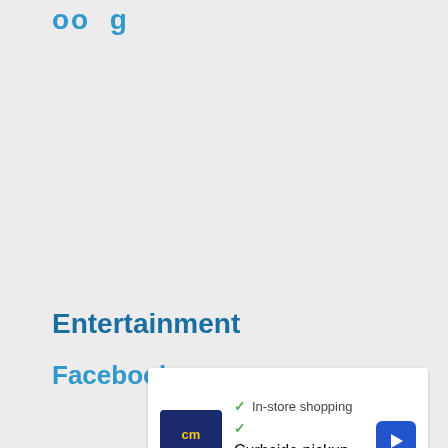oo g
Entertainment
Facebook
[Figure (infographic): Advertisement card showing a logo with 'cm' text on dark blue background, with checkmarks listing 'In-store shopping', 'Curbside pickup', and 'Delivery', plus a blue diamond-shaped direction arrow button on the right. At the bottom left are a play icon and a close (X) icon.]